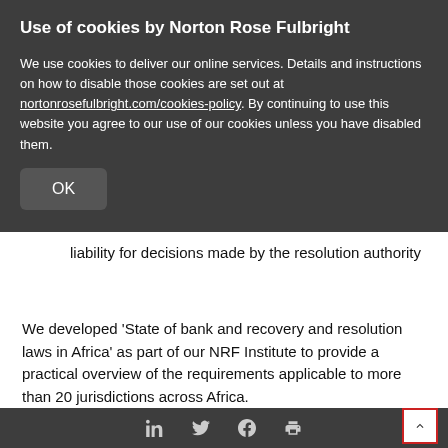Use of cookies by Norton Rose Fulbright
We use cookies to deliver our online services. Details and instructions on how to disable those cookies are set out at nortonrosefulbright.com/cookies-policy. By continuing to use this website you agree to our use of our cookies unless you have disabled them.
OK
liability for decisions made by the resolution authority
We developed ‘State of bank and recovery and resolution laws in Africa’ as part of our NRF Institute to provide a practical overview of the requirements applicable to more than 20 jurisdictions across Africa.
Social share icons and back to top button